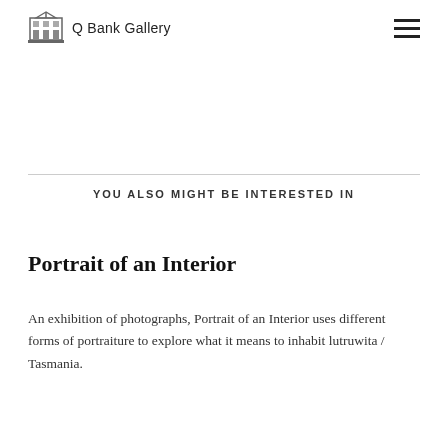Q Bank Gallery
YOU ALSO MIGHT BE INTERESTED IN
Portrait of an Interior
An exhibition of photographs, Portrait of an Interior uses different forms of portraiture to explore what it means to inhabit lutruwita / Tasmania.